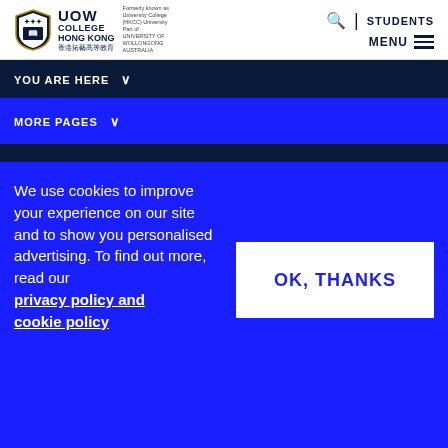[Figure (logo): UOW College Hong Kong logo with shield emblem and text]
STUDENTS
MENU
YOU ARE HERE
MORE PAGES
We use cookies to improve your experience on our site and to show you personalised advertising. To find out more, read our privacy policy and cookie policy
OK, THANKS